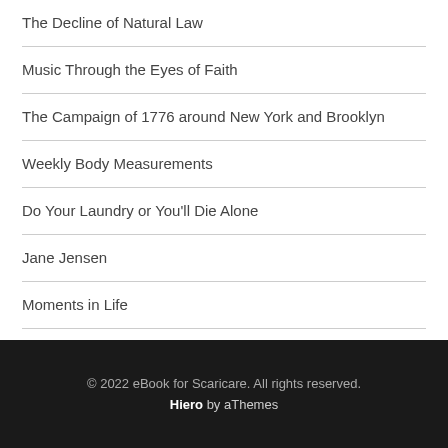The Decline of Natural Law
Music Through the Eyes of Faith
The Campaign of 1776 around New York and Brooklyn
Weekly Body Measurements
Do Your Laundry or You'll Die Alone
Jane Jensen
Moments in Life
Messages from God
The Post-War Occupation of Japan, 1945-1952
© 2022 eBook for Scaricare. All rights reserved. Hiero by aThemes